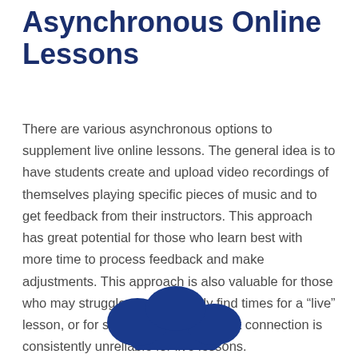Asynchronous Online Lessons
There are various asynchronous options to supplement live online lessons. The general idea is to have students create and upload video recordings of themselves playing specific pieces of music and to get feedback from their instructors. This approach has great potential for those who learn best with more time to process feedback and make adjustments. This approach is also valuable for those who may struggle to consistently find times for a “live” lesson, or for students whose internet connection is consistently unreliable for live lessons.
[Figure (illustration): Partial cloud icon in dark blue, visible at the bottom of the page]